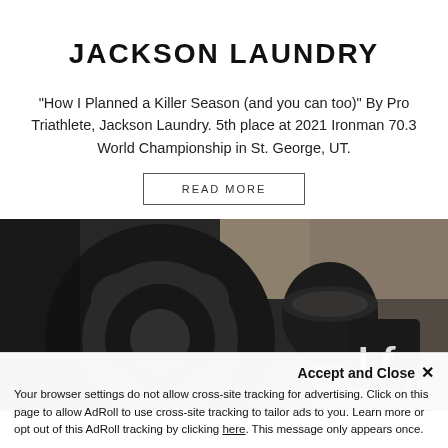JACKSON LAUNDRY
"How I Planned a Killer Season (and you can too)" By Pro Triathlete, Jackson Laundry. 5th place at 2021 Ironman 70.3 World Championship in St. George, UT.
READ MORE
[Figure (photo): Close-up photo of a dark bicycle component/hub with an 'LF' logo and partial text 'IMA' visible, dark metallic tones]
Accept and Close ×
Your browser settings do not allow cross-site tracking for advertising. Click on this page to allow AdRoll to use cross-site tracking to tailor ads to you. Learn more or opt out of this AdRoll tracking by clicking here. This message only appears once.